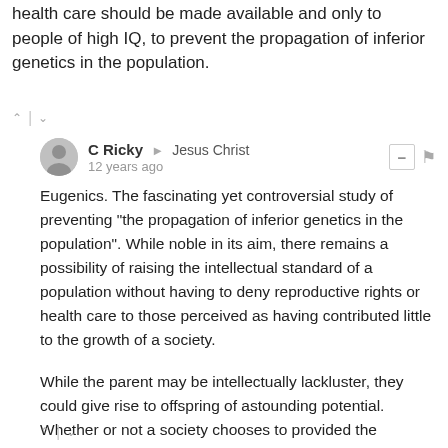health care should be made available and only to people of high IQ, to prevent the propagation of inferior genetics in the population.
C Ricky → Jesus Christ
12 years ago
Eugenics. The fascinating yet controversial study of preventing "the propagation of inferior genetics in the population". While noble in its aim, there remains a possibility of raising the intellectual standard of a population without having to deny reproductive rights or health care to those perceived as having contributed little to the growth of a society.

While the parent may be intellectually lackluster, they could give rise to offspring of astounding potential. Whether or not a society chooses to provided the educational and cultural resources to facilitate and nurture such a mind determines what level of IQ will be produced within future generations.